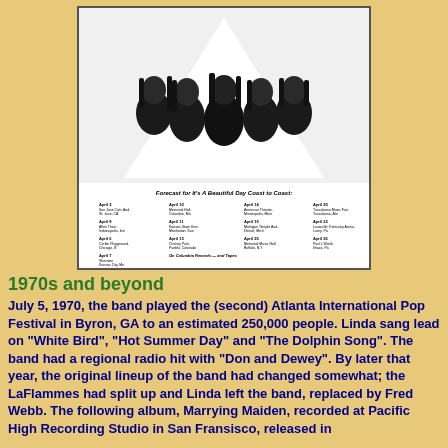[Figure (photo): Black and white album cover photo showing the band It's a Beautiful Day with band members' faces visible, and text below listing tour dates 'Forecast for It's A Beautiful Day Coast to Coast' with multiple city dates listed, on Columbia Records and Tapes.]
1970s and beyond
July 5, 1970, the band played the (second) Atlanta International Pop Festival in Byron, GA to an estimated 250,000 people. Linda sang lead on "White Bird", "Hot Summer Day" and "The Dolphin Song". The band had a regional radio hit with "Don and Dewey". By later that year, the original lineup of the band had changed somewhat; the LaFlammes had split up and Linda left the band, replaced by Fred Webb. The following album, Marrying Maiden, recorded at Pacific High Recording Studio in San Fransisco, released in